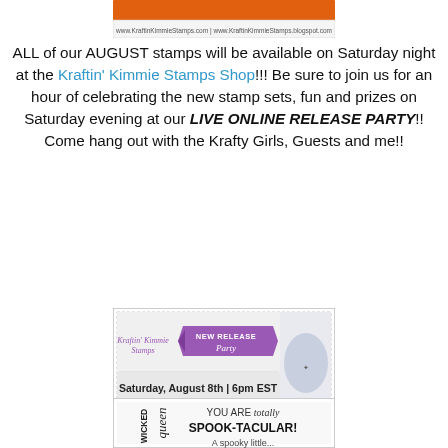[Figure (illustration): Top banner image for Kraftin Kimmie Stamps showing orange header with website URLs www.KraftinKimmieStamps.com | www.KraftinKimmieStamps.blogspot.com]
ALL of our AUGUST stamps will be available on Saturday night at the Kraftin' Kimmie Stamps Shop!!! Be sure to join us for an hour of celebrating the new stamp sets, fun and prizes on Saturday evening at our LIVE ONLINE RELEASE PARTY!! Come hang out with the Krafty Girls, Guests and me!!
[Figure (illustration): New Release Party invitation banner: Kraftin Kimmie Stamps logo, purple ribbon banner saying 'NEW RELEASE Party', 'You're Invited!' with arrows, 'Saturday, August 8th | 6pm EST', witch character illustration, website URLs at bottom]
[Figure (illustration): Stamp set preview banner showing text: 'YOU ARE totally SPOOK-TACULAR! A spooky little...' with 'wicked' and 'queen' text on left side]